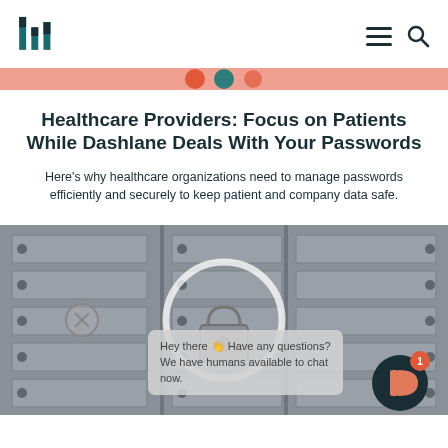Dashlane logo, navigation menu and search icons
[Figure (other): Decorative pink banner strip with orange and teal circle icons]
Healthcare Providers: Focus on Patients While Dashlane Deals With Your Passwords
Here's why healthcare organizations need to manage passwords efficiently and securely to keep patient and company data safe.
[Figure (photo): Photo of bank vault safe deposit boxes, with a magnifying circle overlay showing a lock mechanism, a chat popup asking 'Hey there 👋 Have any questions? We have humans available to chat now.', and a Dashlane chat button with a notification badge showing 1.]